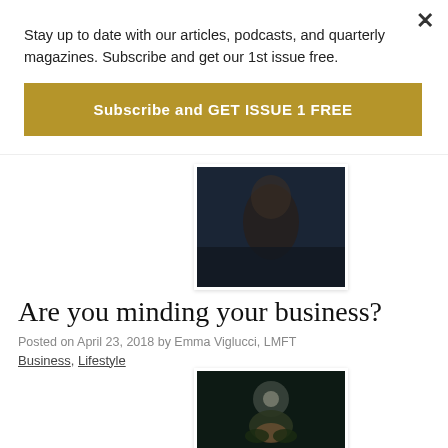Stay up to date with our articles, podcasts, and quarterly magazines. Subscribe and get our 1st issue free.
Subscribe and GET ISSUE 1 FREE
[Figure (photo): Dark moody portrait photo partially visible behind popup, showing a figure with dark background]
Are you minding your business?
Posted on April 23, 2018 by Emma Viglucci, LMFT
Business, Lifestyle
[Figure (photo): Dark macro photo of a cannabis/plant flower with bokeh background and a light orb]